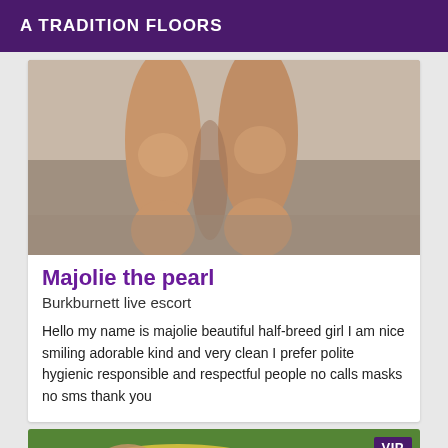A TRADITION FLOORS
[Figure (photo): Close-up photo of a person's legs from knees down, standing on a tiled floor surface.]
Majolie the pearl
Burkburnett live escort
Hello my name is majolie beautiful half-breed girl I am nice smiling adorable kind and very clean I prefer polite hygienic responsible and respectful people no calls masks no sms thank you
[Figure (photo): Photo of a person lying on green grass in colorful clothing, with a VIP badge overlay in the top right corner.]